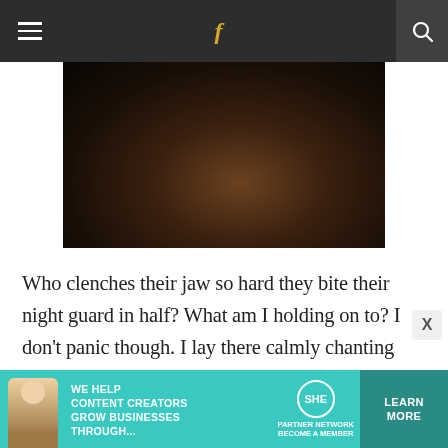Navigation bar with hamburger menu, Facebook link, and search icon
[Figure (photo): Dark photograph, mostly dark tones, possibly food or organic matter, low exposure]
Who clenches their jaw so hard they bite their night guard in half? What am I holding on to? I don't panic though. I lay there calmly chanting don't swallow don't swallow and then make myself laugh because it reminds me of blow jobs and I feel like a teenager for laughing. Like when someone's name was Dick and we'd laugh. Dick and blow jobs and plastic in
[Figure (infographic): Advertisement banner: WE HELP CONTENT CREATORS GROW BUSINESSES THROUGH... SHE PARTNER NETWORK BECOME A MEMBER — LEARN MORE button]